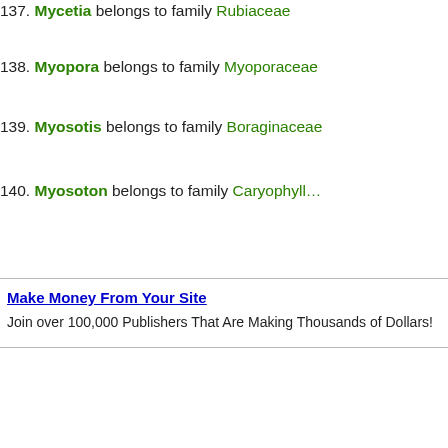137. Mycetia belongs to family Rubiaceae
138. Myopora belongs to family Myoporaceae
139. Myosotis belongs to family Boraginaceae
140. Myosoton belongs to family Caryophyllaceae
Make Money From Your Site
Join over 100,000 Publishers That Are Making Thousands of Dollars!
All A B C D E F G H I
Page:
BVN - BotanyVN - Botany...